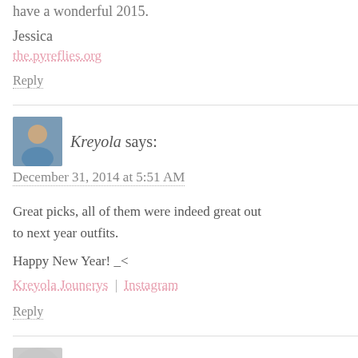have a wonderful 2015.
Jessica
the.pyreflies.org
Reply
Kreyola says:
December 31, 2014 at 5:51 AM
Great picks, all of them were indeed great out to next year outfits.
Happy New Year! _<
Kreyola Jounerys | Instagram
Reply
Katy Amezcua says: